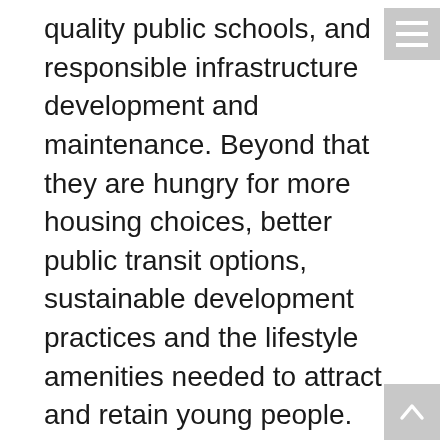quality public schools, and responsible infrastructure development and maintenance. Beyond that they are hungry for more housing choices, better public transit options, sustainable development practices and the lifestyle amenities needed to attract and retain young people.
It's past time for a change. Mayor Bartlett simply has not lived up to voter's expectations. During his time in office we have continued to fall further and further behind the cities we are competing against for jobs, growth and prosperity.